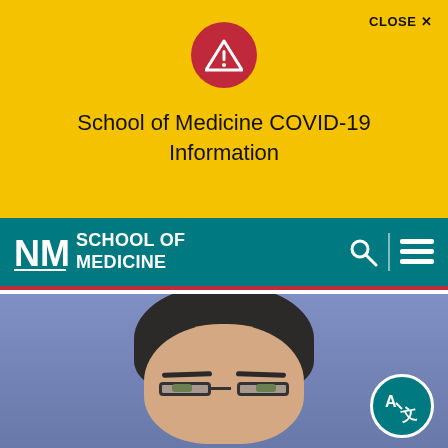[Figure (screenshot): Yellow alert banner with red circular warning icon (triangle with exclamation mark), CLOSE X button in top right]
CLOSE ✕
School of Medicine COVID-19 Information
[Figure (logo): UNM School of Medicine teal navigation bar with NM logo, SCHOOL OF MEDICINE text, search icon, and hamburger menu]
[Figure (photo): Headshot photo of a man with dark short hair and glasses against a blue background]
[Figure (illustration): Teal circular translate/language button with A and foreign character icon in bottom right corner]